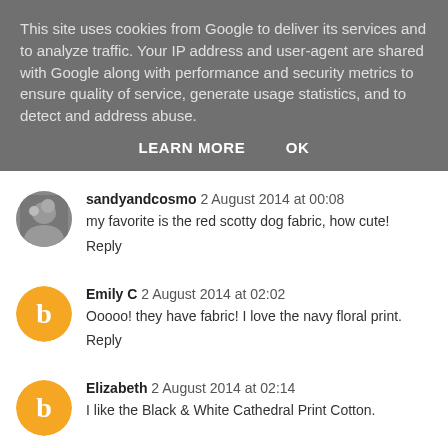This site uses cookies from Google to deliver its services and to analyze traffic. Your IP address and user-agent are shared with Google along with performance and security metrics to ensure quality of service, generate usage statistics, and to detect and address abuse.
LEARN MORE   OK
sandyandcosmo  2 August 2014 at 00:08
my favorite is the red scotty dog fabric, how cute!
Reply
Emily C  2 August 2014 at 02:02
Oooooo! they have fabric! I love the navy floral print.
Reply
Elizabeth  2 August 2014 at 02:14
I like the Black & White Cathedral Print Cotton.